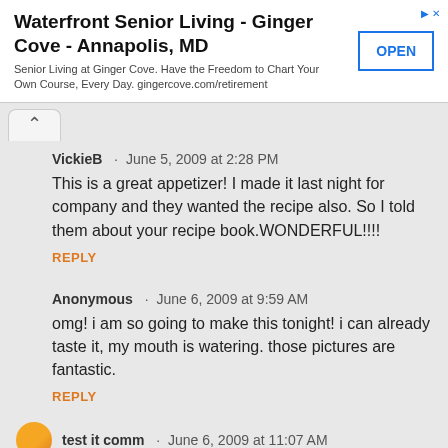[Figure (other): Advertisement banner for Waterfront Senior Living - Ginger Cove - Annapolis, MD with an OPEN button]
VickieB · June 5, 2009 at 2:28 PM
This is a great appetizer! I made it last night for company and they wanted the recipe also. So I told them about your recipe book.WONDERFUL!!!!
REPLY
Anonymous · June 6, 2009 at 9:59 AM
omg! i am so going to make this tonight! i can already taste it, my mouth is watering. those pictures are fantastic.
REPLY
test it comm · June 6, 2009 at 11:07 AM